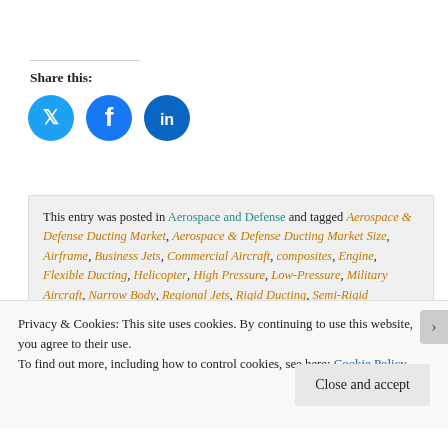Share this:
[Figure (illustration): Three social media share buttons: Twitter (blue circle with bird icon), Facebook (blue circle with 'f' icon), LinkedIn (blue circle with 'in' icon)]
This entry was posted in Aerospace and Defense and tagged Aerospace & Defense Ducting Market, Aerospace & Defense Ducting Market Size, Airframe, Business Jets, Commercial Aircraft, composites, Engine, Flexible Ducting, Helicopter, High Pressure, Low-Pressure, Military Aircraft, Narrow Body, Regional Jets, Rigid Ducting, Semi-Rigid Ducting
Privacy & Cookies: This site uses cookies. By continuing to use this website, you agree to their use. To find out more, including how to control cookies, see here: Cookie Policy
Close and accept